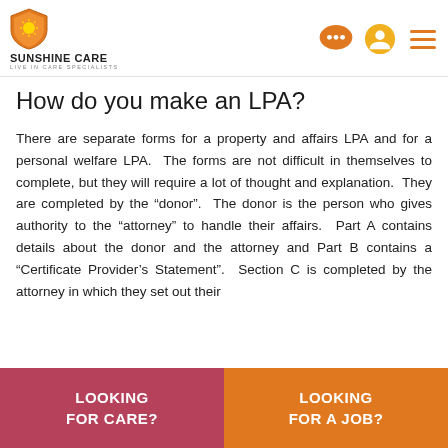[Figure (logo): Sunshine Care logo with orange shield and sun, company name and tagline 'Live In Care Specialists']
How do you make an LPA?
There are separate forms for a property and affairs LPA and for a personal welfare LPA. The forms are not difficult in themselves to complete, but they will require a lot of thought and explanation. They are completed by the “donor”. The donor is the person who gives authority to the “attorney” to handle their affairs. Part A contains details about the donor and the attorney and Part B contains a “Certificate Provider’s Statement”. Section C is completed by the attorney in which they set out their
LOOKING FOR CARE?
LOOKING FOR A JOB?